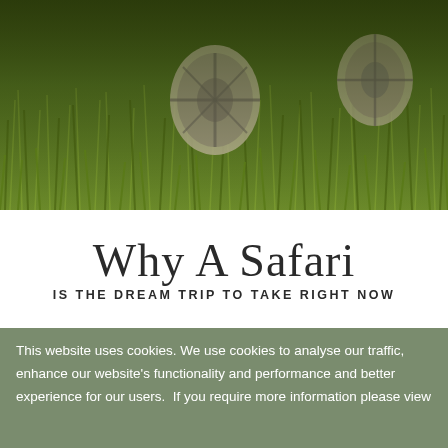[Figure (photo): Safari vehicle wheels partially hidden in tall green grass, outdoor nature scene]
Why A Safari
IS THE DREAM TRIP TO TAKE RIGHT NOW
This website uses cookies. We use cookies to analyse our traffic, enhance our website's functionality and performance and better experience for our users.  If you require more information please view our cookie policy
Got it